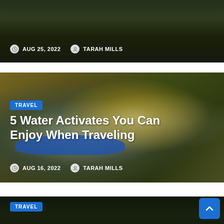[Figure (photo): Partial article card showing a vehicle/outdoor scene with metadata overlay]
AUG 25, 2022   TARAH MILLS
[Figure (photo): White water rafting photo showing multiple people in helmets paddling rapids]
TRAVEL
5 Water Activates You Can Enjoy When Traveling
AUG 16, 2022   TARAH MILLS
[Figure (photo): Aerial forest/jungle photo, partial view at bottom of page]
TRAVEL
6 Family Friendly Things to